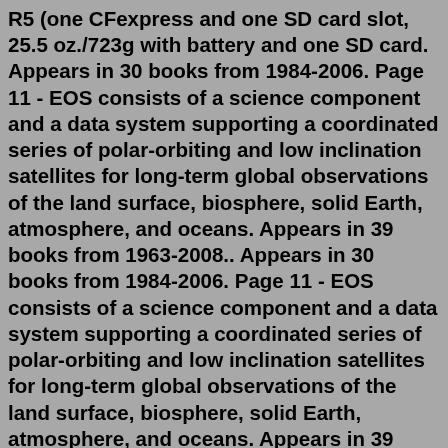R5 (one CFexpress and one SD card slot, 25.5 oz./723g with battery and one SD card. Appears in 30 books from 1984-2006. Page 11 - EOS consists of a science component and a data system supporting a coordinated series of polar-orbiting and low inclination satellites for long-term global observations of the land surface, biosphere, solid Earth, atmosphere, and oceans. Appears in 39 books from 1963-2008.. Appears in 30 books from 1984-2006. Page 11 - EOS consists of a science component and a data system supporting a coordinated series of polar-orbiting and low inclination satellites for long-term global observations of the land surface, biosphere, solid Earth, atmosphere, and oceans. Appears in 39 books from 1963-2008.. The book is easy to read and explains EOS perfectly and it doesn't take long to get through. Read more. Helpful. Report abuse. Deb. 5.0 out of 5 stars Business bible. Reviewed in the United Kingdom on 23 April 2020. Verified Purchase. A must read for anyone following the entrepreneurial